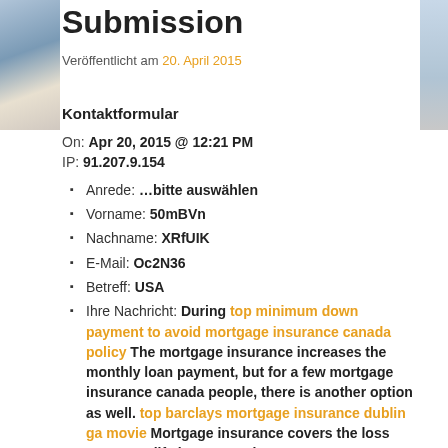Submission
Veröffentlicht am 20. April 2015
Kontaktformular
On: Apr 20, 2015 @ 12:21 PM
IP: 91.207.9.154
Anrede: …bitte auswählen
Vorname: 50mBVn
Nachname: XRfUIK
E-Mail: Oc2N36
Betreff: USA
Ihre Nachricht: During top minimum down payment to avoid mortgage insurance canada policy The mortgage insurance increases the monthly loan payment, but for a few mortgage insurance canada people, there is another option as well. top barclays mortgage insurance dublin ga movie Mortgage insurance covers the loss mortgage life insurance that a mortgage